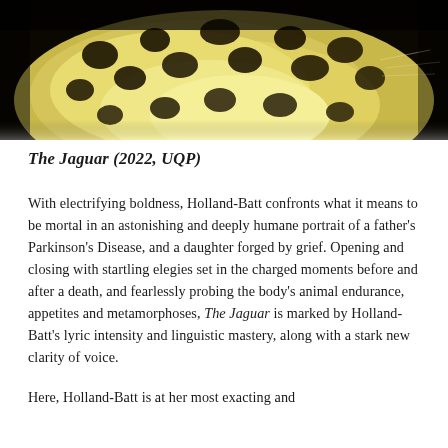[Figure (photo): Close-up photograph of jaguar fur showing yellow-cream coat with black spots/rosettes against a dark background, cropped to show the texture and pattern of the animal's hide.]
The Jaguar (2022, UQP)
With electrifying boldness, Holland-Batt confronts what it means to be mortal in an astonishing and deeply humane portrait of a father's Parkinson's Disease, and a daughter forged by grief. Opening and closing with startling elegies set in the charged moments before and after a death, and fearlessly probing the body's animal endurance, appetites and metamorphoses, The Jaguar is marked by Holland-Batt's lyric intensity and linguistic mastery, along with a stark new clarity of voice.
Here, Holland-Batt is at her most exacting and